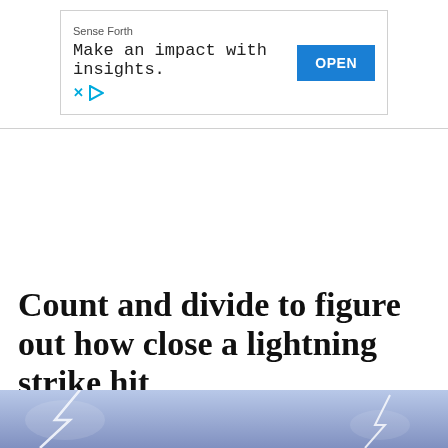[Figure (other): Advertisement banner for 'Sense Forth' with tagline 'Make an impact with insights.' and an OPEN button]
Count and divide to figure out how close a lightning strike hit
[Figure (photo): Photo of lightning bolts against a purple-blue sky background]